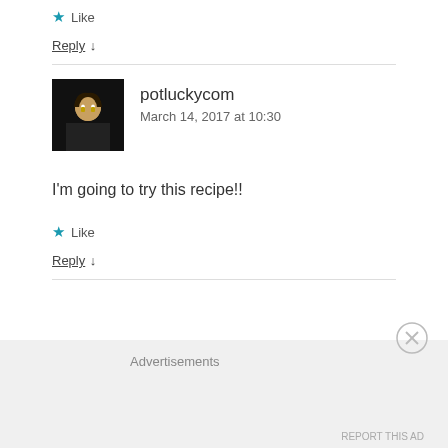★ Like
Reply ↓
potluckycom
March 14, 2017 at 10:30
I'm going to try this recipe!!
★ Like
Reply ↓
Advertisements
REPORT THIS AD